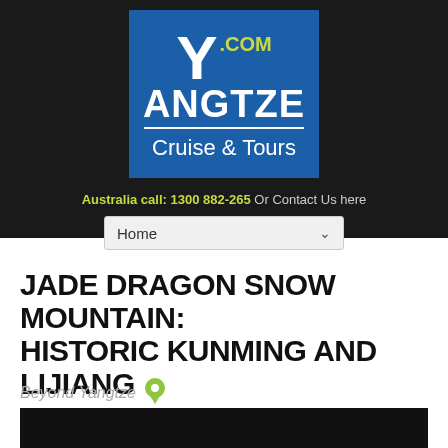[Figure (logo): Yangtze.com Cruise & Tours logo - blue square with large Y letter, .COM in yellow-green, ANGTZE in white, horizontal divider, Cruise & Tours subtitle]
Australia call: 1300 882-265 Or Contact Us here
Home
JADE DRAGON SNOW MOUNTAIN: HISTORIC KUNMING AND LIJIANG
Beyond Yangtze
[Figure (photo): Black image placeholder with loading spinner dots]